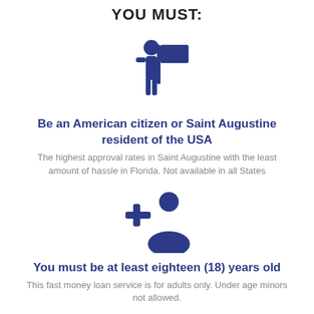YOU MUST:
[Figure (illustration): Icon of a person holding a flag, representing American/USA citizenship or residency.]
Be an American citizen or Saint Augustine resident of the USA
The highest approval rates in Saint Augustine with the least amount of hassle in Florida. Not available in all States
[Figure (illustration): Icon of a person with a plus sign, representing adding/registering a new user (age eligibility icon).]
You must be at least eighteen (18) years old
This fast money loan service is for adults only. Under age minors not allowed.